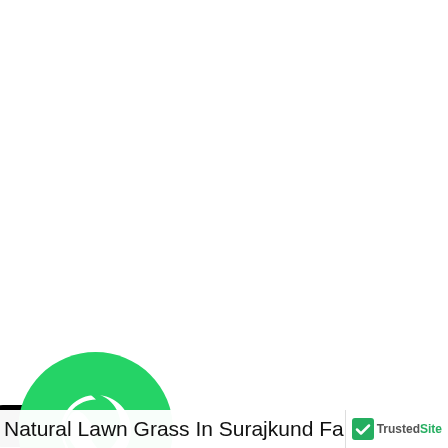[Figure (illustration): Black pill-shaped back button with left arrow icon, partially cropped at left edge]
[Figure (illustration): Red circular phone call button with white phone handset icon, partially cropped at left edge]
[Figure (illustration): Green circular WhatsApp button with white WhatsApp logo icon]
Natural Lawn Grass In Surajkund Farid
[Figure (logo): TrustedSite badge with green checkmark and text 'TrustedSite']